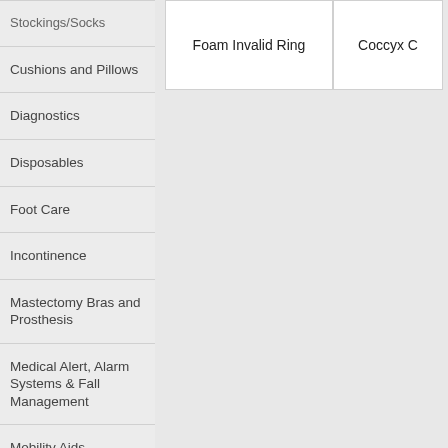Stockings/Socks
Cushions and Pillows
Diagnostics
Disposables
Foot Care
Incontinence
Mastectomy Bras and Prosthesis
Medical Alert, Alarm Systems & Fall Management
Mobility Aids
Orthopedic Braces & Supports
Ostomy and Urinary Supplies
Foam Invalid Ring
Coccyx C